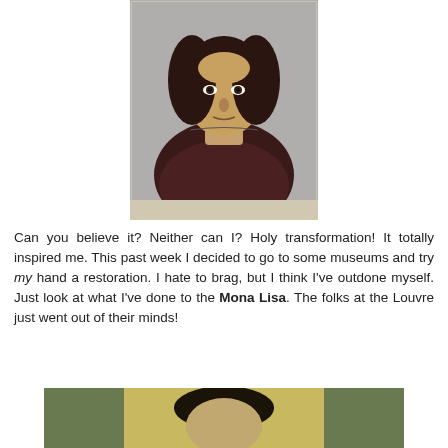[Figure (photo): A painting restoration of a portrait figure — the so-called 'Potato Jesus' or Ecce Homo botched restoration, showing a figure with dark curly hair wearing a dark reddish-brown robe, with a simplified cartoonish face against a grey background.]
Can you believe it? Neither can I? Holy transformation! It totally inspired me. This past week I decided to go to some museums and try my hand a restoration. I hate to brag, but I think I've outdone myself. Just look at what I've done to the Mona Lisa. The folks at the Louvre just went out of their minds!
[Figure (photo): A partially visible painting resembling a modified version of the Mona Lisa, showing a figure with dark hair against a golden-green background, cropped at the bottom of the page.]